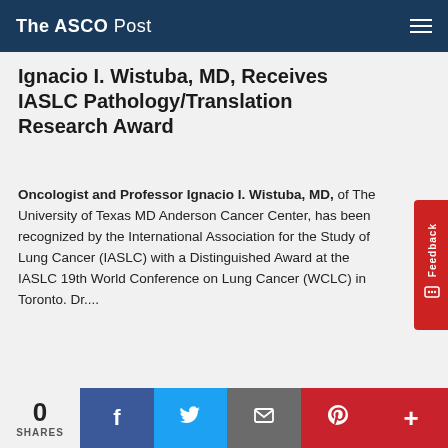The ASCO Post
Ignacio I. Wistuba, MD, Receives IASLC Pathology/Translation Research Award
Oncologist and Professor Ignacio I. Wistuba, MD, of The University of Texas MD Anderson Cancer Center, has been recognized by the International Association for the Study of Lung Cancer (IASLC) with a Distinguished Award at the IASLC 19th World Conference on Lung Cancer (WCLC) in Toronto. Dr....
The ASCO Post / October 25, 2018
Nancy Berliner, MD, Named Next Editor-in-Chief of Blood